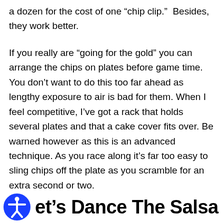a dozen for the cost of one “chip clip.”  Besides, they work better.
If you really are “going for the gold” you can arrange the chips on plates before game time. You don’t want to do this too far ahead as lengthy exposure to air is bad for them. When I feel competitive, I’ve got a rack that holds several plates and that a cake cover fits over. Be warned however as this is an advanced technique. As you race along it’s far too easy to sling chips off the plate as you scramble for an extra second or two.
et’s Dance The Salsa